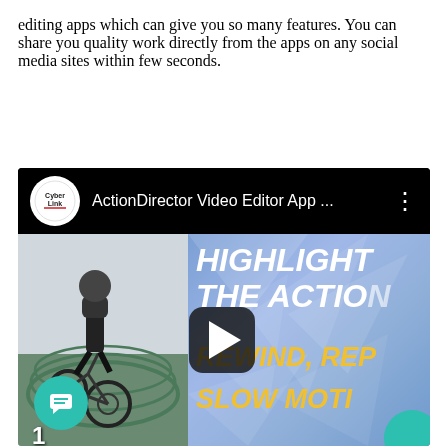and slow motion. There are no other video editing apps which can give you so many features. You can share you quality work directly from the apps on any social media sites within few seconds.
[Figure (screenshot): YouTube-style video embed showing CyberLink ActionDirector Video Editor App thumbnail. Left half shows a BMX rider performing a trick over a railing. Right half shows blue geometric background with bold white text 'HIGHLIGHT THE ACTION' and yellow text 'REWIND, REP... SLOW MOTI...' with a play button in the center.]